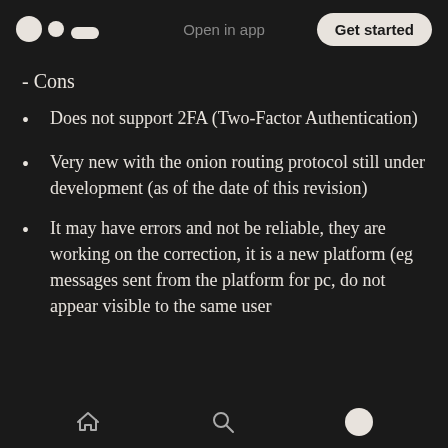Open in app | Get started
- Cons
Does not support 2FA (Two-Factor Authentication)
Very new with the onion routing protocol still under development (as of the date of this revision)
It may have errors and not be reliable, they are working on the correction, it is a new platform (eg messages sent from the platform for pc, do not appear visible to the same user
Home | Search | Profile